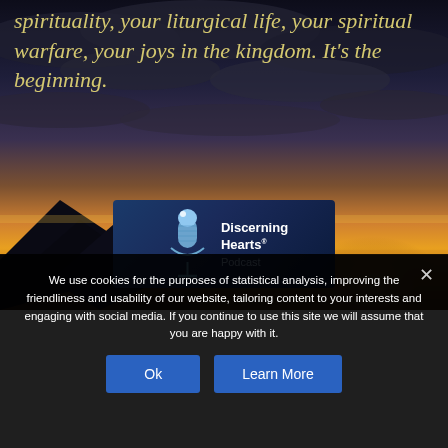[Figure (illustration): Dramatic sunset landscape with dark cloudy sky, mountain silhouettes, and warm orange/golden horizon glow]
spirituality, your liturgical life, your spiritual warfare, your joys in the kingdom. It's the beginning.
[Figure (logo): Discerning Hearts Podcast logo — microphone graphic with text 'Discerning Hearts Podcast' on dark blue background]
We use cookies for the purposes of statistical analysis, improving the friendliness and usability of our website, tailoring content to your interests and engaging with social media. If you continue to use this site we will assume that you are happy with it.